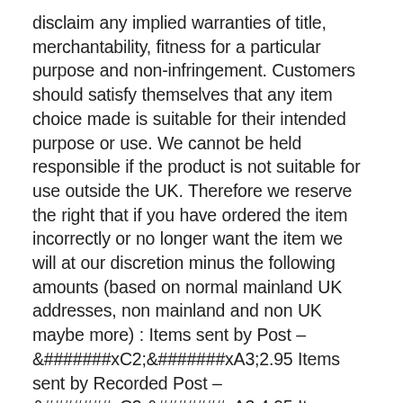disclaim any implied warranties of title, merchantability, fitness for a particular purpose and non-infringement. Customers should satisfy themselves that any item choice made is suitable for their intended purpose or use. We cannot be held responsible if the product is not suitable for use outside the UK. Therefore we reserve the right that if you have ordered the item incorrectly or no longer want the item we will at our discretion minus the following amounts (based on normal mainland UK addresses, non mainland and non UK maybe more) : Items sent by Post – &#xC2;&#xA3;2.95 Items sent by Recorded Post – &#xC2;&#xA3;4.95 Items sent by courier 1kg to 10kg – &#xC2;&#xA3;6.95 Items sent by courier OVER 10kg – &#xC2;&#xA3;9.95. Add to Favourite Sellers. Sign up to Newsletter. View more great items. This listing is currently undergoing maintenance, we apologise for any inconvenience caused. The item "Hertz Car Audio EBX F25 10 Slim Flat Subwoofer Box with 12 passive radiator" is in sale